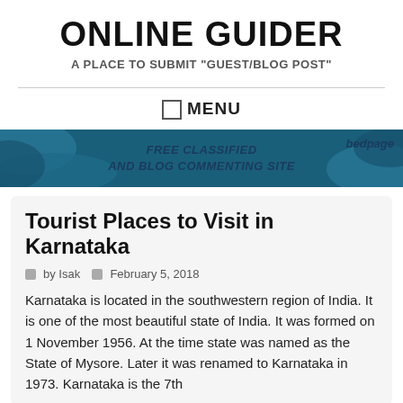ONLINE GUIDER
A PLACE TO SUBMIT "GUEST/BLOG POST"
MENU
[Figure (infographic): Advertisement banner for bedpage — FREE CLASSIFIED AND BLOG COMMENTING SITE — teal/blue background with organic blob shapes on left and right]
Tourist Places to Visit in Karnataka
by Isak   February 5, 2018
Karnataka is located in the southwestern region of India. It is one of the most beautiful state of India. It was formed on 1 November 1956. At the time state was named as the State of Mysore. Later it was renamed to Karnataka in 1973. Karnataka is the 7th